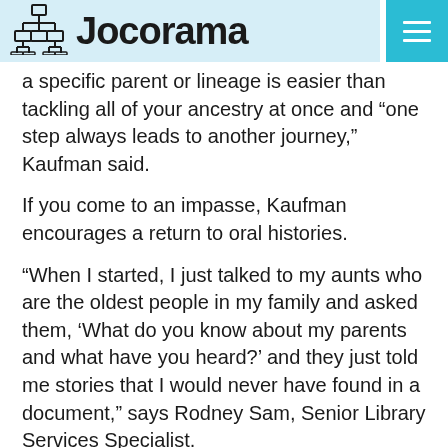Jocorama
a specific parent or lineage is easier than tackling all of your ancestry at once and “one step always leads to another journey,” Kaufman said.
If you come to an impasse, Kaufman encourages a return to oral histories.
“When I started, I just talked to my aunts who are the oldest people in my family and asked them, ‘What do you know about my parents and what have you heard?’ and they just told me stories that I would never have found in a document,” says Rodney Sam, Senior Library Services Specialist.
Although archives can provide strong evidence of the past, Sam encourages a healthy degree of skepticism and, after studying his family’s history for more than 20 years,